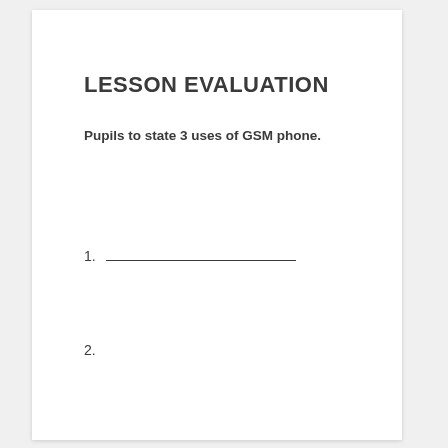LESSON EVALUATION
Pupils to state 3 uses of GSM phone.
1. ___________________
2.